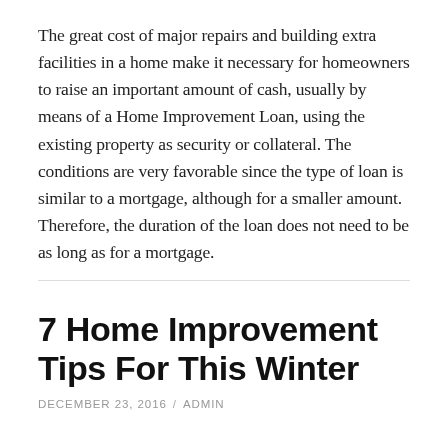The great cost of major repairs and building extra facilities in a home make it necessary for homeowners to raise an important amount of cash, usually by means of a Home Improvement Loan, using the existing property as security or collateral. The conditions are very favorable since the type of loan is similar to a mortgage, although for a smaller amount. Therefore, the duration of the loan does not need to be as long as for a mortgage.
7 Home Improvement Tips For This Winter
DECEMBER 23, 2016  /  ADMIN